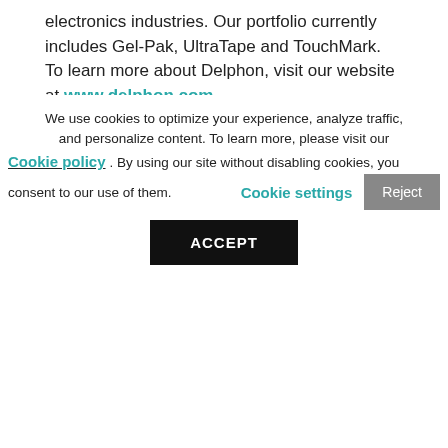electronics industries. Our portfolio currently includes Gel-Pak, UltraTape and TouchMark. To learn more about Delphon, visit our website at www.delphon.com.
For more information, please contact Jennifer Nunes, Sr. Director of Marketing, at jnunes@delphon.com or visit www.delphon.com.
We use cookies to optimize your experience, analyze traffic, and personalize content. To learn more, please visit our Cookie policy. By using our site without disabling cookies, you consent to our use of them. Cookie settings Reject ACCEPT